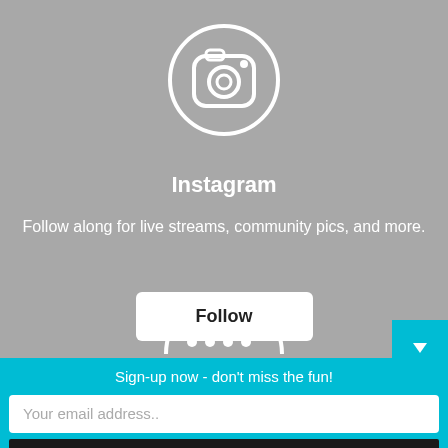[Figure (logo): Instagram camera icon in a circle outline, white on gray background]
Instagram
Follow along for live streams, community pics, and more.
Follow
[Figure (other): Partial circle with dots, partially visible at bottom of gray section]
Sign-up now - don't miss the fun!
Your email address..
Subscribe